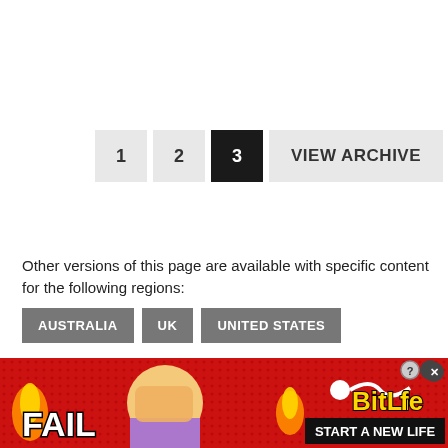1  2  3  VIEW ARCHIVE
Other versions of this page are available with specific content for the following regions:
AUSTRALIA
UK
UNITED STATES
[Figure (other): BitLife advertisement banner with FAIL text, cartoon character facepalming, flames, sperm icon, BitLife logo in yellow, and START A NEW LIFE button on black background, red background with dotted pattern]